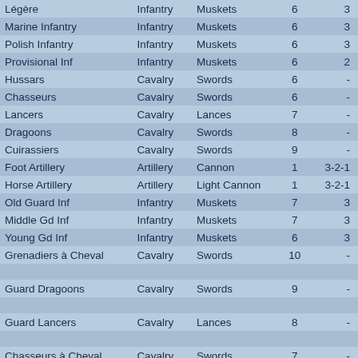| Légère | Infantry | Muskets | 6 | 3 |
| Marine Infantry | Infantry | Muskets | 6 | 3 |
| Polish Infantry | Infantry | Muskets | 6 | 3 |
| Provisional Inf | Infantry | Muskets | 6 | 2 |
| Hussars | Cavalry | Swords | 6 | - |
| Chasseurs | Cavalry | Swords | 6 | - |
| Lancers | Cavalry | Lances | 7 | - |
| Dragoons | Cavalry | Swords | 8 | - |
| Cuirassiers | Cavalry | Swords | 9 | - |
| Foot Artillery | Artillery | Cannon | 1 | 3-2-1 |
| Horse Artillery | Artillery | Light Cannon | 1 | 3-2-1 |
| Old Guard Inf | Infantry | Muskets | 7 | 3 |
| Middle Gd Inf | Infantry | Muskets | 7 | 3 |
| Young Gd Inf | Infantry | Muskets | 6 | 3 |
| Grenadiers à Cheval | Cavalry | Swords | 10 | - |
|  |  |  |  |  |
| Guard Dragoons | Cavalry | Swords | 9 | - |
|  |  |  |  |  |
| Guard Lancers | Cavalry | Lances | 8 | - |
|  |  |  |  |  |
| Chasseurs à Cheval | Cavalry | Swords | 7 | - |